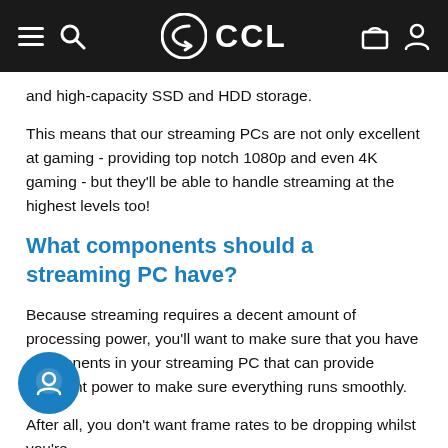CCL
and high-capacity SSD and HDD storage.
This means that our streaming PCs are not only excellent at gaming - providing top notch 1080p and even 4K gaming - but they'll be able to handle streaming at the highest levels too!
What components should a streaming PC have?
Because streaming requires a decent amount of processing power, you'll want to make sure that you have components in your streaming PC that can provide sufficient power to make sure everything runs smoothly.
After all, you don't want frame rates to be dropping whilst you're playing a highly-competitive game such as Fortnite.
Every component in a streaming PC plays an important part in creating an enjoyable streaming experience, there are